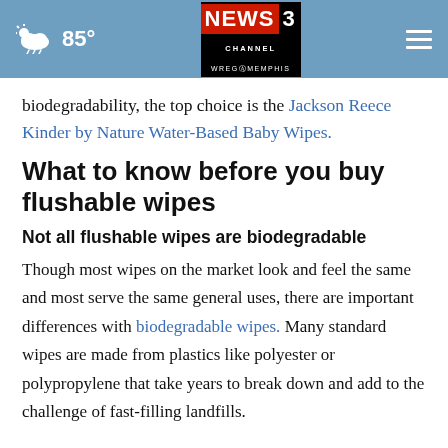NEWS CHANNEL 3 WREG MEMPHIS | 85°
biodegradability, the top choice is the Jackson Reece Kinder by Nature Water-Based Baby Wipes.
What to know before you buy flushable wipes
Not all flushable wipes are biodegradable
Though most wipes on the market look and feel the same and most serve the same general uses, there are important differences with biodegradable wipes. Many standard wipes are made from plastics like polyester or polypropylene that take years to break down and add to the challenge of fast-filling landfills.